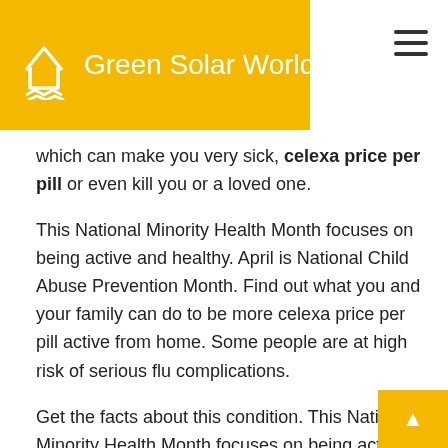Green Solar World
which can make you very sick, celexa price per pill or even kill you or a loved one.
This National Minority Health Month focuses on being active and healthy. April is National Child Abuse Prevention Month. Find out what you and your family can do to be more celexa price per pill active from home. Some people are at high risk of serious flu complications.
Get the facts about this condition. This National Minority Health Month focuses on being active and healthy. Get the facts celexa price per pill about this condition. Flu vaccination and the correct use of flu antiviral medicines are very important for protecting people at high risk for a life-threatening condition called...